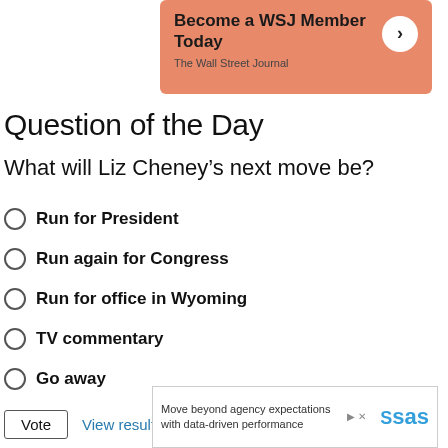[Figure (infographic): WSJ salmon-colored ad banner: 'Become a WSJ Member Today' with arrow circle and 'The Wall Street Journal' subtitle]
Question of the Day
What will Liz Cheney's next move be?
Run for President
Run again for Congress
Run for office in Wyoming
TV commentary
Go away
Vote  View results
[Figure (infographic): SAS advertisement: 'Move beyond agency expectations with data-driven performance' with SAS logo]